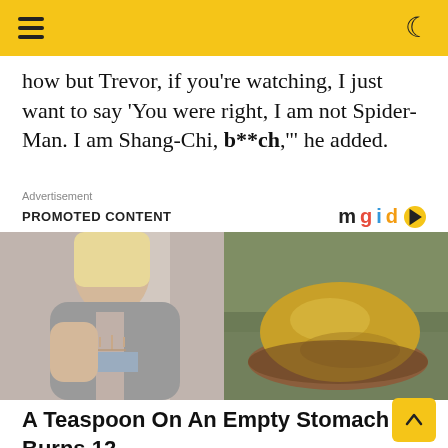Navigation header with hamburger menu and moon/dark-mode icon on yellow background
how but Trevor, if you're watching, I just want to say 'You were right, I am not Spider-Man. I am Shang-Chi, b**ch,'' he added.
Advertisement
PROMOTED CONTENT
[Figure (photo): Left: blonde woman in grey jacket showing toned abs. Right: pile of yellow/golden powder in a wooden bowl.]
A Teaspoon On An Empty Stomach Burns 12 Lbs Of Fat A Week Safely